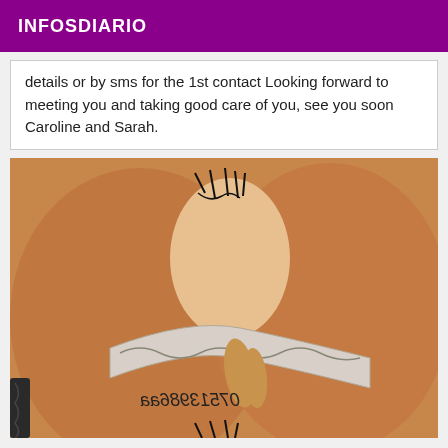INFOSDIARIO
details or by sms for the 1st contact Looking forward to meeting you and taking good care of you, see you soon Caroline and Sarah.
[Figure (photo): Close-up photo of two people with handwritten text/phone number visible on skin reading 07513986aa]